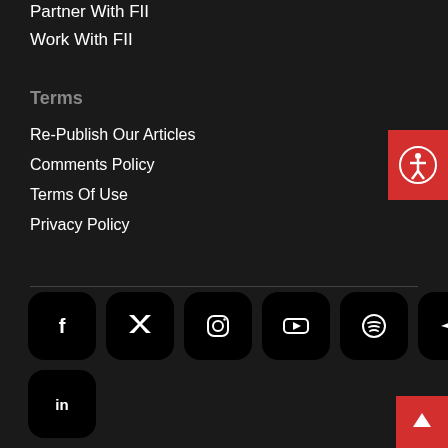Partner With FII
Work With FII
Terms
Re-Publish Our Articles
Comments Policy
Terms Of Use
Privacy Policy
[Figure (illustration): Social media icon buttons in black rounded squares: Facebook, Twitter, Instagram, YouTube, Spotify, Telegram, LinkedIn]
[Figure (illustration): Accessibility button (red background with person icon) and back-to-top button (red background with up arrow)]